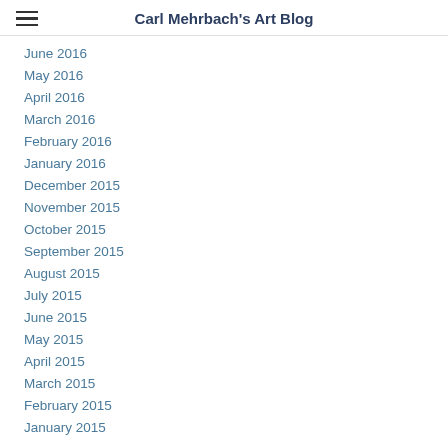Carl Mehrbach's Art Blog
June 2016
May 2016
April 2016
March 2016
February 2016
January 2016
December 2015
November 2015
October 2015
September 2015
August 2015
July 2015
June 2015
May 2015
April 2015
March 2015
February 2015
January 2015